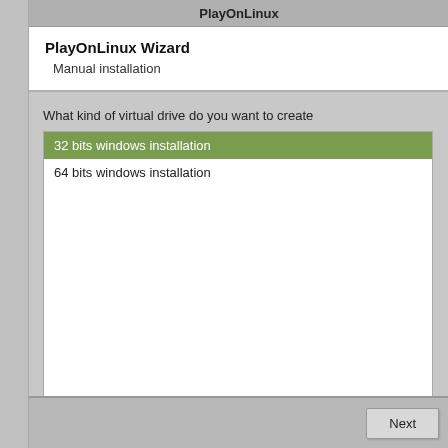PlayOnLinux
PlayOnLinux Wizard
Manual installation
What kind of virtual drive do you want to create
32 bits windows installation
64 bits windows installation
Next